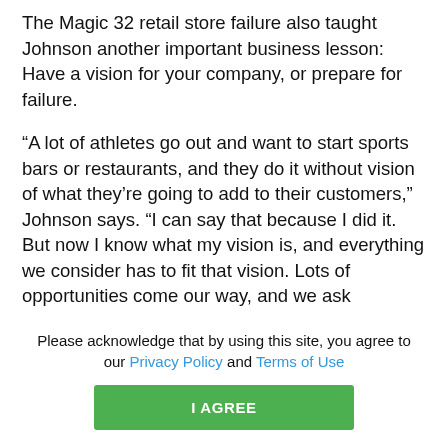The Magic 32 retail store failure also taught Johnson another important business lesson: Have a vision for your company, or prepare for failure.
“A lot of athletes go out and want to start sports bars or restaurants, and they do it without vision of what they’re going to add to their customers,” Johnson says. “I can say that because I did it. But now I know what my vision is, and everything we consider has to fit that vision. Lots of opportunities come our way, and we ask ourselves as we look at every one whether it will bring something of value to the communities we
We use cookies to ensure you receive the best experience while on our website.
Please acknowledge that by using this site, you agree to our Privacy Policy and Terms of Use
I AGREE